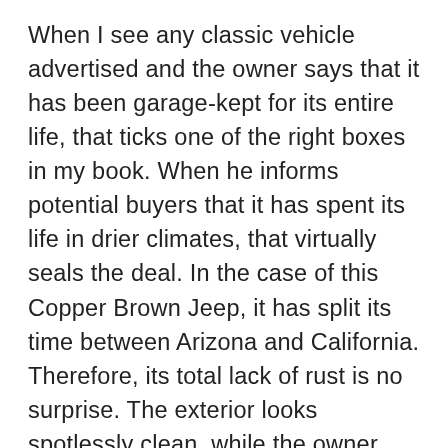When I see any classic vehicle advertised and the owner says that it has been garage-kept for its entire life, that ticks one of the right boxes in my book. When he informs potential buyers that it has spent its life in drier climates, that virtually seals the deal. In the case of this Copper Brown Jeep, it has split its time between Arizona and California. Therefore, its total lack of rust is no surprise. The exterior looks spotlessly clean, while the owner says that the underside shows no evidence of corrosion, scaling, or weird undercoating. That all augurs well for a classic that is structurally sound. Its paint shines beautifully, and this is a testament to the care that has been lavished on it. Those climates that are so good at protecting steel can also wreak havoc on painted surfaces. The owner says that the paint on this Jeep is original, and its